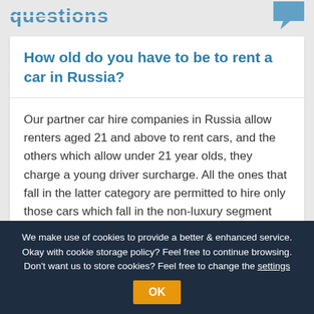questions
How old do you have to be to rent a car in Russia?
Our partner car hire companies in Russia allow renters aged 21 and above to rent cars, and the others which allow under 21 year olds, they charge a young driver surcharge. All the ones that fall in the latter category are permitted to hire only those cars which fall in the non-luxury segment like compacts, economy and standard cars. The minimum rental age may vary with change in supplier, location as well as the car category. To find out the exact minimum age requirement for each supplier,...
We make use of cookies to provide a better & enhanced service. Okay with cookie storage policy? Feel free to continue browsing. Don't want us to store cookies? Feel free to change the settings